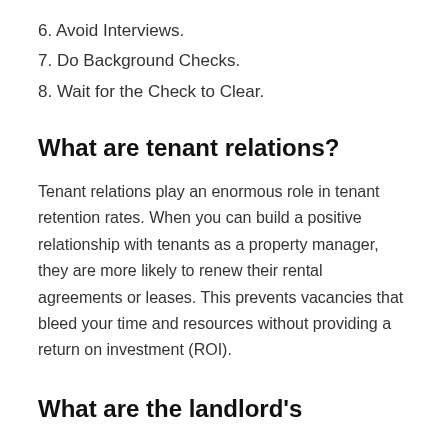6. Avoid Interviews.
7. Do Background Checks.
8. Wait for the Check to Clear.
What are tenant relations?
Tenant relations play an enormous role in tenant retention rates. When you can build a positive relationship with tenants as a property manager, they are more likely to renew their rental agreements or leases. This prevents vacancies that bleed your time and resources without providing a return on investment (ROI).
What are the landlord's